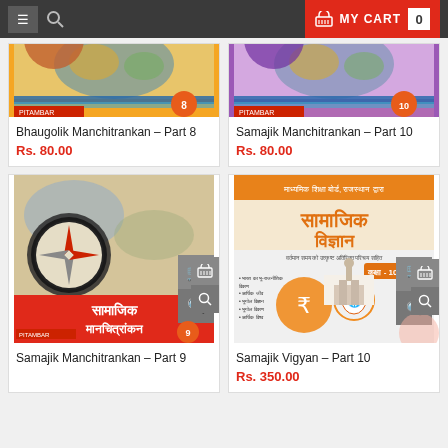☰ 🔍   🛒 MY CART  0
[Figure (photo): Book cover: Bhaugolik Manchitrankan Part 8 - map/globe imagery]
Bhaugolik Manchitrankan – Part 8
Rs. 80.00
[Figure (photo): Book cover: Samajik Manchitrankan Part 10 - map/globe imagery]
Samajik Manchitrankan – Part 10
Rs. 80.00
[Figure (photo): Book cover: Samajik Manchitrankan Part 9 - compass and maps imagery with Hindi text सामाजिक मानचित्रांकन]
Samajik Manchitrankan – Part 9
[Figure (photo): Book cover: Samajik Vigyan Part 10 - orange cover with Hindi text सामाजिक विज्ञान, Taj Mahal and icons]
Samajik Vigyan – Part 10
Rs. 350.00